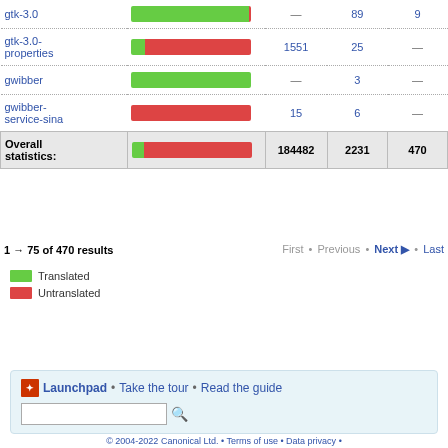| Package | Progress | Need review | Untranslated | Other |
| --- | --- | --- | --- | --- |
| gtk-3.0 | [bar: mostly green] | — | 89 | 9 |
| gtk-3.0-properties | [bar: mostly red] | 1551 | 25 | — |
| gwibber | [bar: all green] | — | 3 | — |
| gwibber-service-sina | [bar: all red] | 15 | 6 | — |
| Overall statistics: | [bar: small green + red] | 184482 | 2231 | 470 |
1 → 75 of 470 results   First • Previous • Next ▶ • Last
Translated
Untranslated
Launchpad • Take the tour • Read the guide
© 2004-2022 Canonical Ltd. • Terms of use • Data privacy •